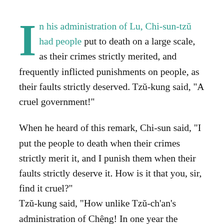In his administration of Lu, Chi-sun-tzŭ had people put to death on a large scale, as their crimes strictly merited, and frequently inflicted punishments on people, as their faults strictly deserved. Tzŭ-kung said, "A cruel government!"
When he heard of this remark, Chi-sun said, "I put the people to death when their crimes strictly merit it, and I punish them when their faults strictly deserve it. How is it that you, sir, find it cruel?"
Tzŭ-kung said, "How unlike Tzŭ-ch'an's administration of Chêng! In one year the number of faults requiring punishment diminished; in two years crimes requiring capital punishment disappeared. In three years the prisons had no prisoners. As a result the people turned to him as